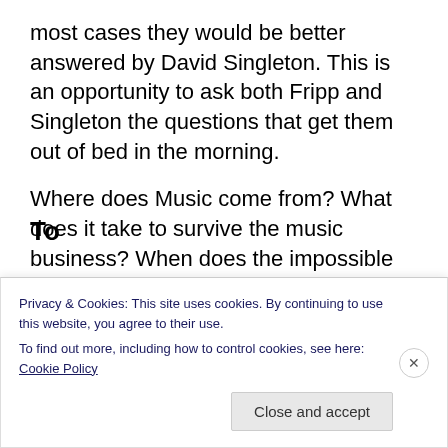most cases they would be better answered by David Singleton. This is an opportunity to ask both Fripp and Singleton the questions that get them out of bed in the morning.
Where does Music come from? What does it take to survive the music business? When does the impossible become possible? Can Music change the world? Why did Fripp put on a tutu and dance to Swan Lake at the end of his garden?  Who is The Vicar?
Privacy & Cookies: This site uses cookies. By continuing to use this website, you agree to their use.
To find out more, including how to control cookies, see here: Cookie Policy
Close and accept